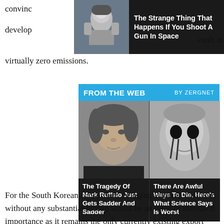convinc... develop... result in virtually zero emissions.
[Figure (screenshot): Ad banner with astronaut image and headline: The Strange Thing That Happens If You Shoot A Gun In Space]
[Figure (infographic): FROM THE WEB BY ZERGNET widget with two articles: 'The Tragedy Of Mark Ruffalo Just Gets Sadder And Sadder' with photo of man, and 'There Are Awful Ways To Die, Here's What Science Says Is Worst' with dark figure photo]
For the South Korean consortium, bringing Barakah onstream without any substantial hiccup would be an issue of increased importance as it remains the only currently existing export order in KEPCO's portfolio. Moreover, KEPCO owns 18% of the project company (Nawah Energy